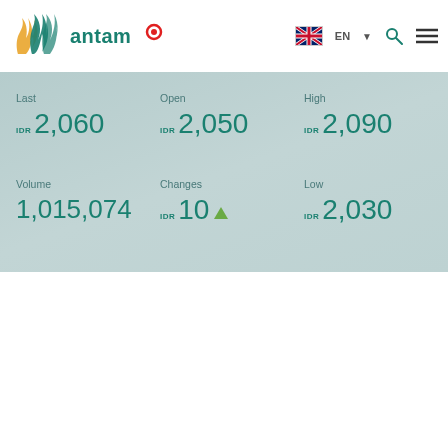antam EN
| Last | Open | High |
| --- | --- | --- |
| IDR 2,060 | IDR 2,050 | IDR 2,090 |
| Volume
1,015,074 | Changes
IDR 10 ▲ | Low
IDR 2,030 |